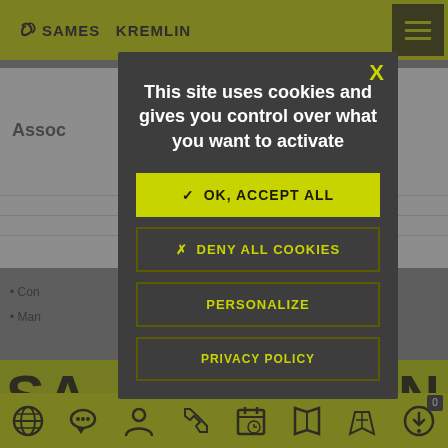[Figure (screenshot): Sames Kremlin website with cookie consent modal overlay. Background shows the Sames Kremlin logo header with yellow bar, hamburger menu, partial page content with 'Assoc' text and bullet points, large yellow banner with 'SA' and 'IN' text, and a bottom yellow icon toolbar. A dark overlay covers the background with a dark modal dialog containing cookie consent options.]
This site uses cookies and gives you control over what you want to activate
✓ OK, ACCEPT ALL
✗ DENY ALL COOKIES
PERSONALIZE
PRIVACY POLICY